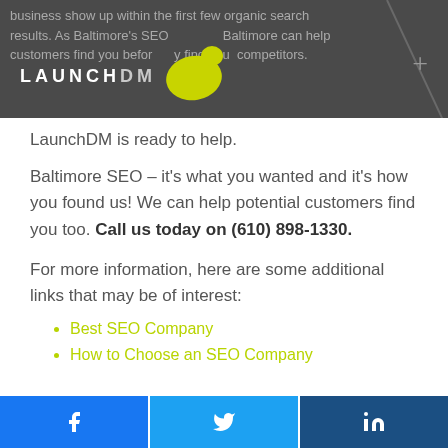business show up within the first few organic search results. As Baltimore's SEO... Baltimore can help customers find you before they find your competitors. LaunchDM is ready to help.
LaunchDM is ready to help.
Baltimore SEO – it's what you wanted and it's how you found us! We can help potential customers find you too. Call us today on (610) 898-1330.
For more information, here are some additional links that may be of interest:
Best SEO Company
How to Choose an SEO Company
Facebook | Twitter | LinkedIn